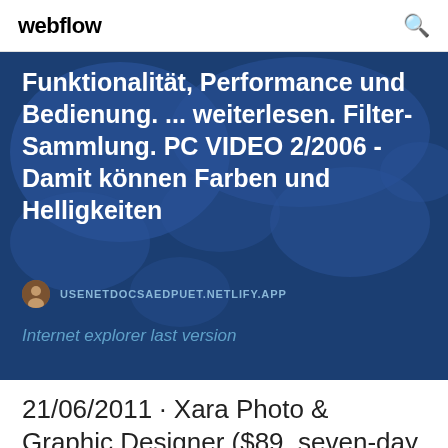webflow
[Figure (screenshot): A card with a dark blue background featuring a world map silhouette. Contains German text about Funktionalität, Performance und Bedienung. Filter-Sammlung. PC VIDEO 2/2006 - Damit können Farben und Helligkeiten. Below is a URL badge USENETDOCSAEDPUET.NETLIFY.APP and italic text 'Internet explorer last version'.]
21/06/2011 · Xara Photo & Graphic Designer ($89, seven-day free trial) is an